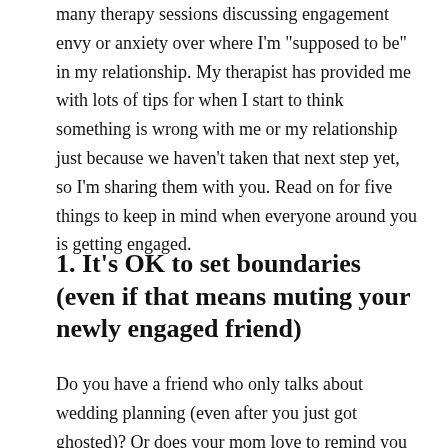many therapy sessions discussing engagement envy or anxiety over where I'm "supposed to be" in my relationship. My therapist has provided me with lots of tips for when I start to think something is wrong with me or my relationship just because we haven't taken that next step yet, so I'm sharing them with you. Read on for five things to keep in mind when everyone around you is getting engaged.
1. It's OK to set boundaries (even if that means muting your newly engaged friend)
Do you have a friend who only talks about wedding planning (even after you just got ghosted)? Or does your mom love to remind you that she can't wait to have grandchildren one day—if only you could "settle down?"